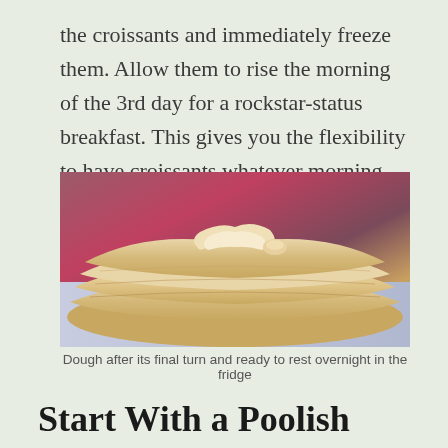the croissants and immediately freeze them. Allow them to rise the morning of the 3rd day for a rockstar-status breakfast. This gives you the flexibility to have croissants whatever morning you want.
[Figure (photo): Laminated croissant dough after its final turn, showing layered folds, resting on a surface with colorful items visible in the background]
Dough after its final turn and ready to rest overnight in the fridge
Start With a Poolish